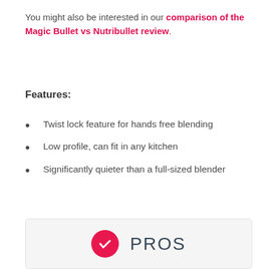You might also be interested in our comparison of the Magic Bullet vs Nutribullet review.
Features:
Twist lock feature for hands free blending
Low profile, can fit in any kitchen
Significantly quieter than a full-sized blender
[Figure (infographic): PROS section header with red checkmark circle icon and 'PROS' text in dark blue-gray]